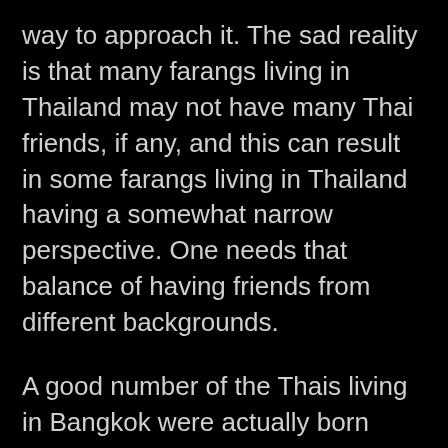way to approach it. The sad reality is that many farangs living in Thailand may not have many Thai friends, if any, and this can result in some farangs living in Thailand having a somewhat narrow perspective. One needs that balance of having friends from different backgrounds.
A good number of the Thais living in Bangkok were actually born outside of the capital. Bangkok has grown at a rapid pace, increasing from around 2 and a bit million inhabitants in the early '70s to around 10 or 12 million today – no-one is quite sure how many people currently reside in what is said to be the world's 20th most populous city. With this in mind, and taking into consideration the diversity of Thai people, you will see many types of communities in